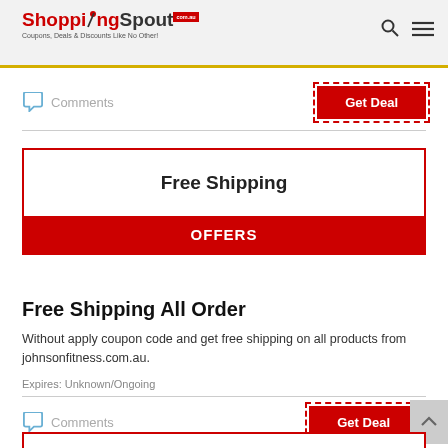ShoppingSpout.com.au — Coupons, Deals & Discounts Like No Other!
Comments   Get Deal
Free Shipping — OFFERS
Free Shipping All Order
Without apply coupon code and get free shipping on all products from johnsonfitness.com.au.
Expires: Unknown/Ongoing
Comments   Get Deal